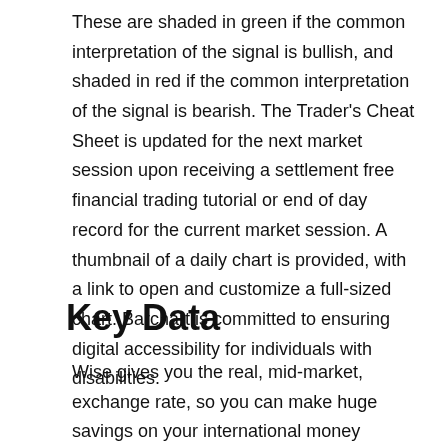These are shaded in green if the common interpretation of the signal is bullish, and shaded in red if the common interpretation of the signal is bearish. The Trader's Cheat Sheet is updated for the next market session upon receiving a settlement free financial trading tutorial or end of day record for the current market session. A thumbnail of a daily chart is provided, with a link to open and customize a full-sized chart. Barchart is committed to ensuring digital accessibility for individuals with disabilities.
Key Data
Wise gives you the real, mid-market, exchange rate, so you can make huge savings on your international money transfers. AxiTrader is 100% owned by AxiCorp Financial Services Pty Ltd, a company incorporated in